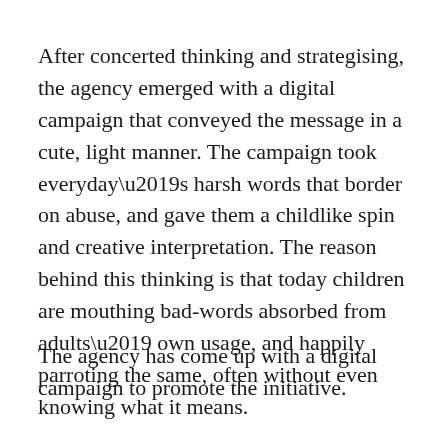After concerted thinking and strategising, the agency emerged with a digital campaign that conveyed the message in a cute, light manner. The campaign took everyday’s harsh words that border on abuse, and gave them a childlike spin and creative interpretation. The reason behind this thinking is that today children are mouthing bad-words absorbed from adults’ own usage, and happily parroting the same, often without even knowing what it means.
The agency has come up with a digital campaign to promote the initiative.